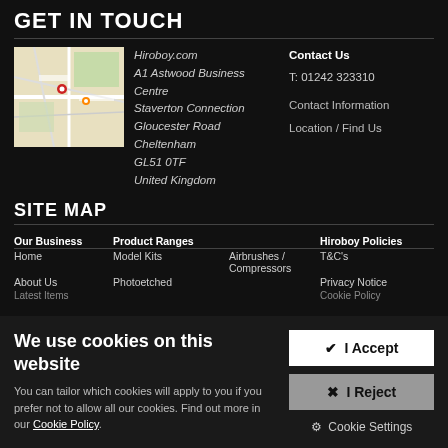GET IN TOUCH
[Figure (map): Google Maps thumbnail showing location near Cheltenham/Staverton area with a red pin marker]
Hiroboy.com
A1 Astwood Business Centre
Staverton Connection
Gloucester Road
Cheltenham
GL51 0TF
United Kingdom
Contact Us
T: 01242 323310
Contact Information
Location / Find Us
SITE MAP
| Our Business | Product Ranges |  | Hiroboy Policies |
| --- | --- | --- | --- |
| Home | Model Kits | Airbrushes / Compressors | T&C's |
| About Us | Photoetched |  | Privacy Notice |
| Latest Items |  |  | Cookie Policy |
We use cookies on this website
You can tailor which cookies will apply to you if you prefer not to allow all our cookies. Find out more in our Cookie Policy.
✔ I Accept
✖ I Reject
⚙ Cookie Settings